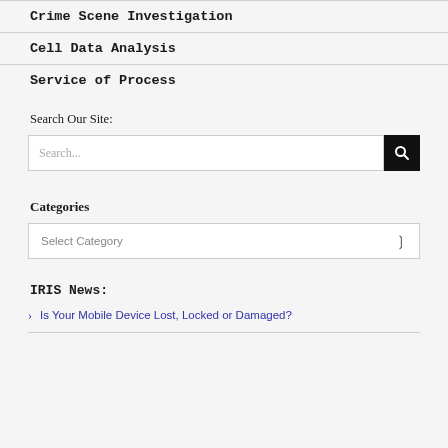Crime Scene Investigation
Cell Data Analysis
Service of Process
Search Our Site:
[Figure (other): Search input box with search button]
Categories
[Figure (other): Select Category dropdown]
IRIS News:
> Is Your Mobile Device Lost, Locked or Damaged?